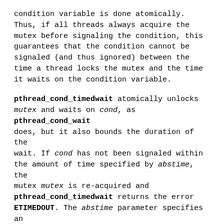condition variable is done atomically. Thus, if all threads always acquire the mutex before signaling the condition, this guarantees that the condition cannot be signaled (and thus ignored) between the time a thread locks the mutex and the time it waits on the condition variable.
pthread_cond_timedwait atomically unlocks mutex and waits on cond, as pthread_cond_wait does, but it also bounds the duration of the wait. If cond has not been signaled within the amount of time specified by abstime, the mutex mutex is re-acquired and pthread_cond_timedwait returns the error ETIMEDOUT. The abstime parameter specifies an absolute time, with the same origin as time(2) and gettimeofday(2): an abstime of 0 corresponds to 00:00:00 GMT, January 1, 1970.
pthread_cond_destroy destroys a condition variable, freeing the resources it might hold. No threads must be waiting on the